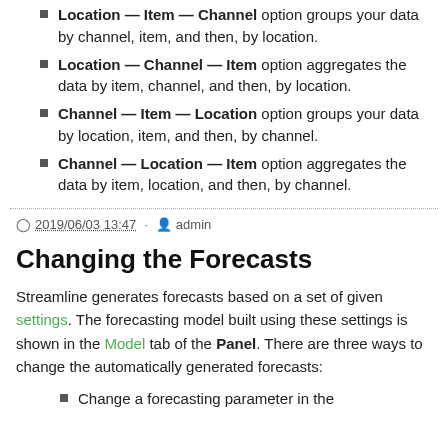Location — Item — Channel option groups your data by channel, item, and then, by location.
Location — Channel — Item option aggregates the data by item, channel, and then, by location.
Channel — Item — Location option groups your data by location, item, and then, by channel.
Channel — Location — Item option aggregates the data by item, location, and then, by channel.
2019/06/03 13:47 · admin
Changing the Forecasts
Streamline generates forecasts based on a set of given settings. The forecasting model built using these settings is shown in the Model tab of the Panel. There are three ways to change the automatically generated forecasts:
Change a forecasting parameter in the